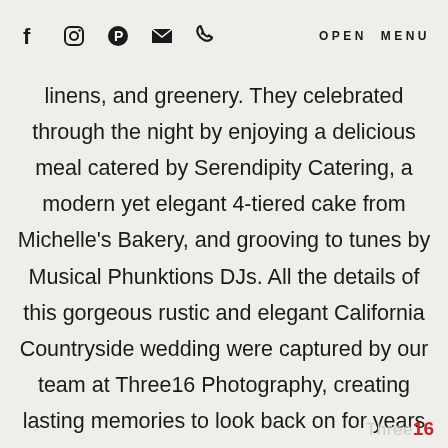f [instagram] [pinterest] [email] [phone] OPEN MENU
linens, and greenery. They celebrated through the night by enjoying a delicious meal catered by Serendipity Catering, a modern yet elegant 4-tiered cake from Michelle's Bakery, and grooving to tunes by Musical Phunktions DJs. All the details of this gorgeous rustic and elegant California Countryside wedding were captured by our team at Three16 Photography, creating lasting memories to look back on for years to come.
Three16